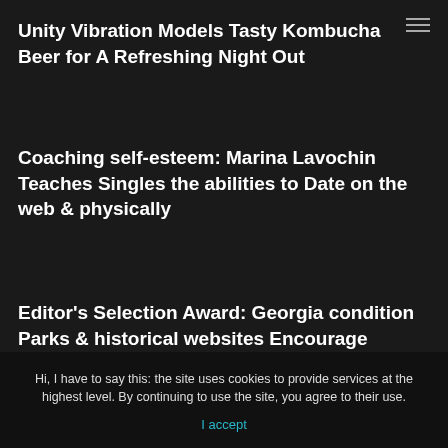Unity Vibration Models Tasty Kombucha Beer for A Refreshing Night Out
Coaching self-esteem: Marina Lavochin Teaches Singles the abilities to Date on the web & physically
Editor's Selection Award: Georgia condition Parks & historical websites Encourage partners to relish Outdoor schedules in a Peaceful Setting
Hi, I have to say this: the site uses cookies to provide services at the highest level. By continuing to use the site, you agree to their use.
I accept